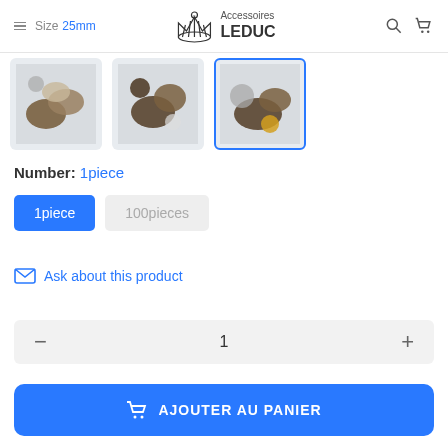Accessoires LEDUC
Size: 25mm
[Figure (photo): Three thumbnail images of mixed decorative buttons in brown/grey tones; third one is selected with blue border]
Number: 1piece
1piece | 100pieces (selection options)
Ask about this product
1 (quantity selector)
AJOUTER AU PANIER